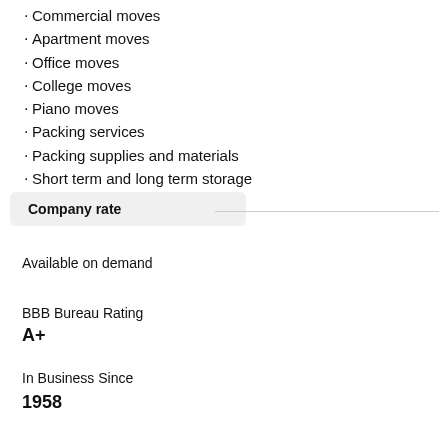Commercial moves
Apartment moves
Office moves
College moves
Piano moves
Packing services
Packing supplies and materials
Short term and long term storage
Company rate
Available on demand
BBB Bureau Rating
A+
In Business Since
1958